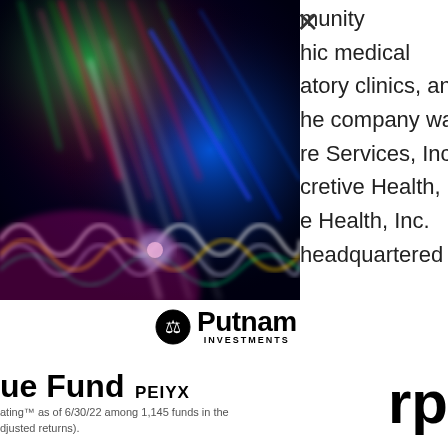[Figure (photo): Abstract colorful light streaks and wave patterns on dark background, resembling a scientific or technology visualization with DNA-like wave structures in blue, red, green, and yellow]
munity
hic medical
atory clinics, and
he company was
re Services, Inc.
cretive Health,
e Health, Inc.
headquartered in
[Figure (logo): Putnam Investments logo with scales of justice icon]
ue Fund PEIYX
rp
ating™ as of 6/30/22 among 1,145 funds in the
djusted returns).